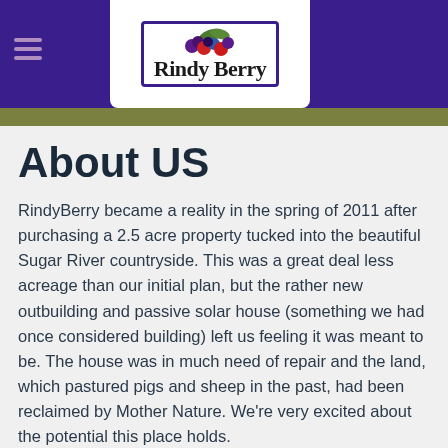RindyBerry
About US
RindyBerry became a reality in the spring of 2011 after purchasing a 2.5 acre property tucked into the beautiful Sugar River countryside. This was a great deal less acreage than our initial plan, but the rather new outbuilding and passive solar house (something we had once considered building) left us feeling it was meant to be. The house was in much need of repair and the land, which pastured pigs and sheep in the past, had been reclaimed by Mother Nature. We're very excited about the potential this place holds.
Sustainability is practiced by dividing our tillable acreage into
[Figure (photo): Photo of eggs, likely farm fresh eggs]